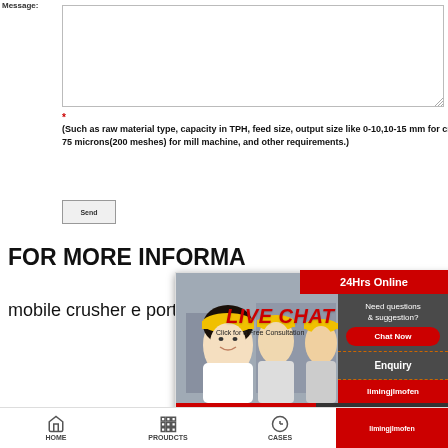Message:
(Such as raw material type, capacity in TPH, feed size, output size like 0-10,10-15 mm for crushing or 75 microns(200 meshes) for mill machine, and other requirements.)
[Figure (screenshot): Live chat popup with workers wearing yellow hard hats on left, 'LIVE CHAT' text in red italic, 'Click for a Free Consultation' subtitle, Chat now (red) and Chat later (dark) buttons, consultant photo on right, close button top-right]
24Hrs Online
FOR MORE INFORMA
mobile crusher e porter:
Need questions & suggestion?
Chat Now
Enquiry
limingjlmofen
HOME  PROUDCTS  CASES  limingjlmofen